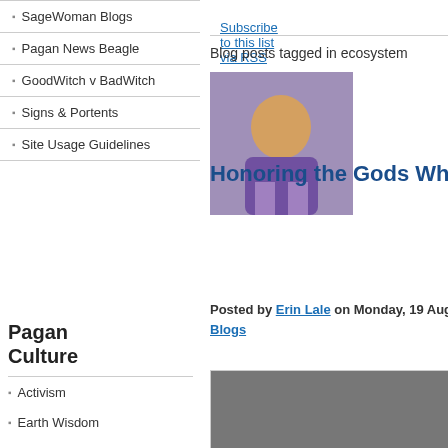SageWoman Blogs
Subscribe to this list via RSS
Pagan News Beagle
GoodWitch v BadWitch
Signs & Portents
Site Usage Guidelines
Blog posts tagged in ecosystem
Honoring the Gods Where I Am
Posted by Erin Lale on Monday, 19 August 2019 in Paths Blogs
[Figure (photo): Author portrait photo of a woman]
[Figure (photo): Close-up photo of a knife or blade with what appears to be a butterfly resting on it, dark moody background]
Pagan Culture
Activism
Earth Wisdom
Log in
Forgot your password? Forgot your username?
BBI Media, publisher of Witches&Pagans magazine, has served the Pagan community for over 20 years. We never rent or share any personal data outside our company.